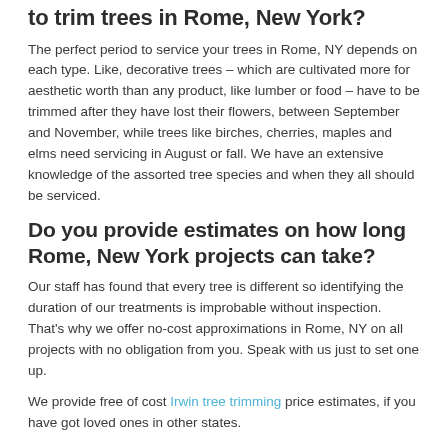to trim trees in Rome, New York?
The perfect period to service your trees in Rome, NY depends on each type. Like, decorative trees – which are cultivated more for aesthetic worth than any product, like lumber or food – have to be trimmed after they have lost their flowers, between September and November, while trees like birches, cherries, maples and elms need servicing in August or fall. We have an extensive knowledge of the assorted tree species and when they all should be serviced.
Do you provide estimates on how long Rome, New York projects can take?
Our staff has found that every tree is different so identifying the duration of our treatments is improbable without inspection. That's why we offer no-cost approximations in Rome, NY on all projects with no obligation from you. Speak with us just to set one up.
We provide free of cost Irwin tree trimming price estimates, if you have got loved ones in other states.
There's tons of info accessible to homeowners contemplating tree treatments. If you have any questions or concerns don't hesitate to consult with us to schedule a thorough appraisal of your issues.